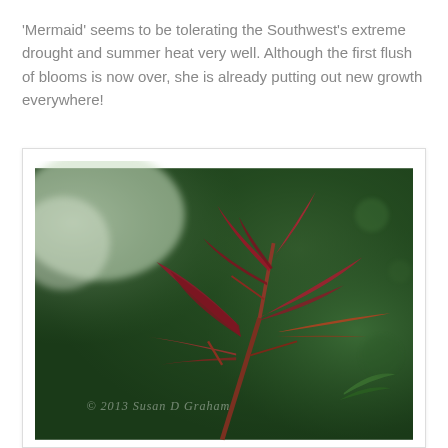'Mermaid' seems to be tolerating the Southwest's extreme drought and summer heat very well. Although the first flush of blooms is now over, she is already putting out new growth everywhere!
[Figure (photo): Close-up photograph of deep red/crimson new rose growth shoots and leaves on a branch, with a blurred green bokeh background. A watermark reads '© 2013 Susan [surname] Graham' in script across the lower portion.]